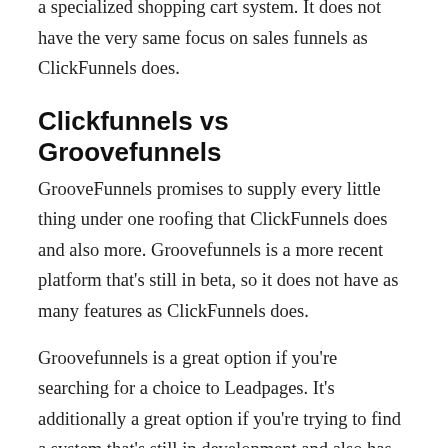a specialized shopping cart system. It does not have the very same focus on sales funnels as ClickFunnels does.
Clickfunnels vs Groovefunnels
GrooveFunnels promises to supply every little thing under one roofing that ClickFunnels does and also more. Groovefunnels is a more recent platform that's still in beta, so it does not have as many features as ClickFunnels does.
Groovefunnels is a great option if you're searching for a choice to Leadpages. It's additionally a great option if you're trying to find a system that's still in development and also has the potential to grow.